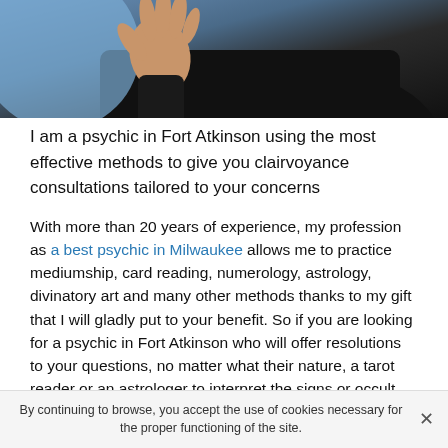[Figure (photo): Person in dark clothing with hand raised, against blue background. Partial upper body visible.]
I am a psychic in Fort Atkinson using the most effective methods to give you clairvoyance consultations tailored to your concerns
With more than 20 years of experience, my profession as a best psychic in Milwaukee allows me to practice mediumship, card reading, numerology, astrology, divinatory art and many other methods thanks to my gift that I will gladly put to your benefit. So if you are looking for a psychic in Fort Atkinson who will offer resolutions to your questions, no matter what their nature, a tarot reader or an astrologer to interpret the signs or occult waves that you may feel around you, you can make an appointment with my clairvoyance office in all serenity.
By continuing to browse, you accept the use of cookies necessary for the proper functioning of the site.